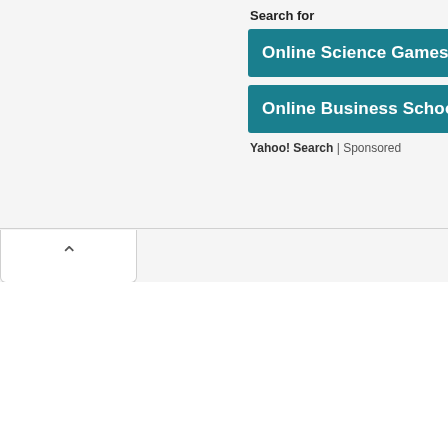Search for
Online Science Games
Online Business Schools
Yahoo! Search | Sponsored
[Figure (screenshot): A back/up navigation tab button with a chevron (^) symbol in the bottom-left corner of the visible area, partially cropped]